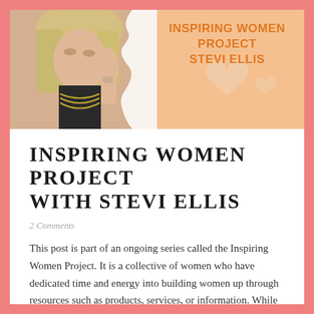[Figure (photo): Header image showing a young blonde woman on the left side with a peach/orange background on the right featuring decorative heart shapes and bold orange text reading 'INSPIRING WOMEN PROJECT STEVI ELLIS']
INSPIRING WOMEN PROJECT WITH STEVI ELLIS
2 Comments
This post is part of an ongoing series called the Inspiring Women Project. It is a collective of women who have dedicated time and energy into building women up through resources such as products, services, or information. While some of the women featured in this series also work with men, some do not, and the core